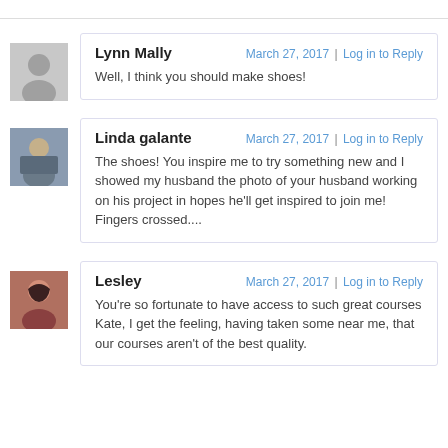Lynn Mally
March 27, 2017 | Log in to Reply
Well, I think you should make shoes!
Linda galante
March 27, 2017 | Log in to Reply
The shoes! You inspire me to try something new and I showed my husband the photo of your husband working on his project in hopes he'll get inspired to join me! Fingers crossed....
Lesley
March 27, 2017 | Log in to Reply
You're so fortunate to have access to such great courses Kate, I get the feeling, having taken some near me, that our courses aren't of the best quality.